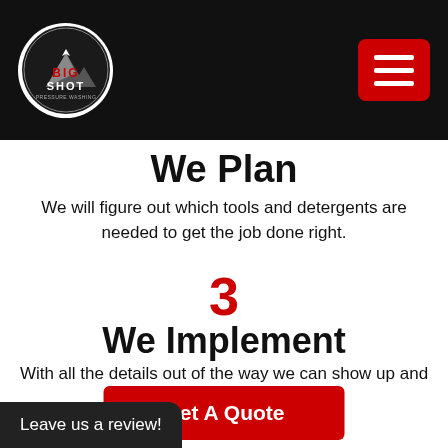[Figure (logo): Big Shot Pressure Washing logo — circular badge with mountain graphic, white and red text on dark background]
We Plan
We will figure out which tools and detergents are needed to get the job done right.
3
We Implement
With all the details out of the way we can show up and execute the plan.
Get A Quote
Leave us a review!